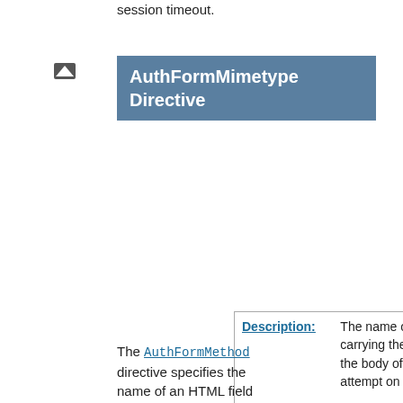session timeout.
AuthFormMimetype Directive
| Field | Value |
| --- | --- |
| Description: | The name of a form field carrying the mimetype of the body of the request to attempt on successful login |
| Syntax: | AuthFormMimetype fieldname |
| Default: | httpd_mimetype |
| Context: | directory |
| Status: | Base |
| Module: | mod_auth_form |
| Compatibility: | Available in Apache HTTP Server 2.3.0 and later |
The AuthFormMethod directive specifies the name of an HTML field